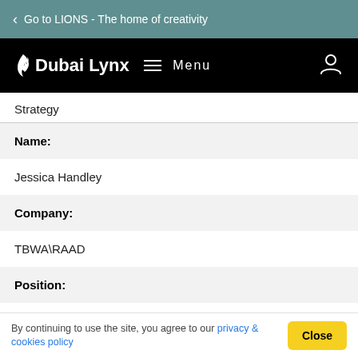Go to LIONS - The home of creativity
[Figure (logo): Dubai Lynx logo with flame icon, hamburger menu and Menu text, user account icon on black navigation bar]
Strategy
Name:
Jessica Handley
Company:
TBWA\RAAD
Position:
Strategy
By continuing to use the site, you agree to our privacy & cookies policy